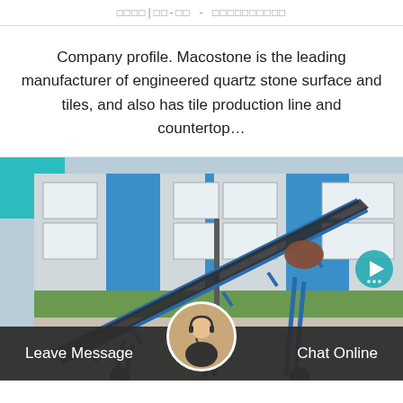□□□□|□□-□□ - □□□□□□□□□□
Company profile. Macostone is the leading manufacturer of engineered quartz stone surface and tiles, and also has tile production line and countertop…
[Figure (photo): Photo of an industrial conveyor belt machine (blue metal frame, dark belt) positioned outdoors in front of a blue and white factory building. A teal decorative square overlaps the top-left corner. A circular navigation arrow appears on the right side.]
Leave Message   Chat Online